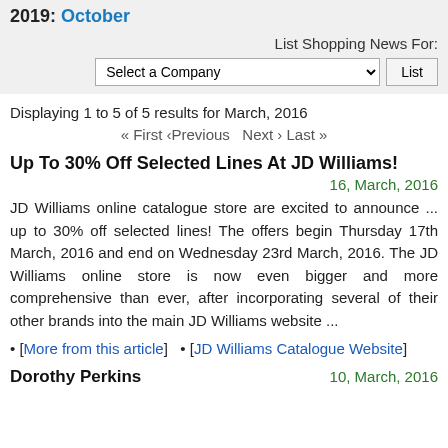2019: October
List Shopping News For:
Select a Company [dropdown] List [button]
Displaying 1 to 5 of 5 results for March, 2016
«« First ‹ Previous  Next › Last ›»
Up To 30% Off Selected Lines At JD Williams!
16, March, 2016
JD Williams online catalogue store are excited to announce ... up to 30% off selected lines! The offers begin Thursday 17th March, 2016 and end on Wednesday 23rd March, 2016. The JD Williams online store is now even bigger and more comprehensive than ever, after incorporating several of their other brands into the main JD Williams website ...
• [More from this article]   • [JD Williams Catalogue Website]
Dorothy Perkins
10, March, 2016